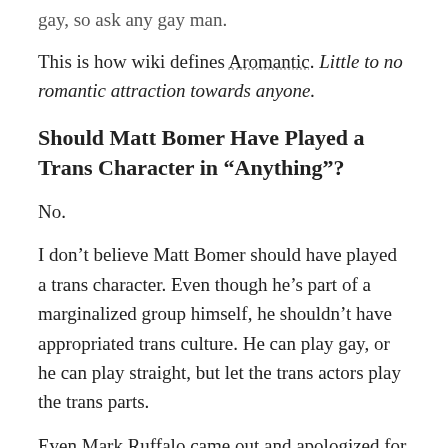gay, so ask any gay man.
This is how wiki defines Aromantic. Little to no romantic attraction towards anyone.
Should Matt Bomer Have Played a Trans Character in “Anything”?
No.
I don’t believe Matt Bomer should have played a trans character. Even though he’s part of a marginalized group himself, he shouldn’t have appropriated trans culture. He can play gay, or he can play straight, but let the trans actors play the trans parts.
Even Mark Ruffalo came out and apologized for casting a cis man in the role of a trans woman. And